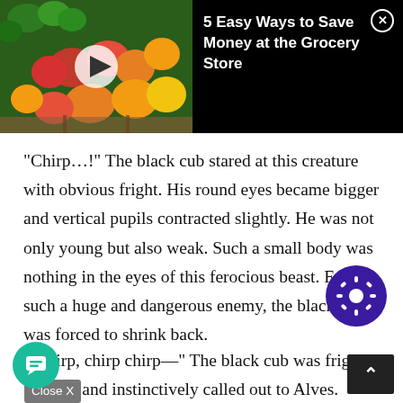[Figure (screenshot): Video thumbnail showing colorful produce/vegetables at a grocery store with a play button overlay, alongside a black panel with title '5 Easy Ways to Save Money at the Grocery Store' and a close (X) button]
“Chirp…!” The black cub stared at this creature with obvious fright. His round eyes became bigger and vertical pupils contracted slightly. He was not only young but also weak. Such a small body was nothing in the eyes of this ferocious beast. Facing such a huge and dangerous enemy, the black cub was forced to shrink back.
“Chirp, chirp chirp—” The black cub was frig[Close X]and instinctively called out to Alves.